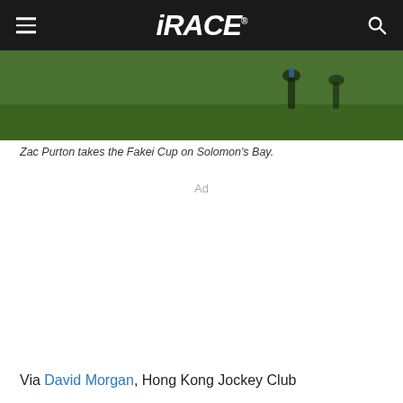iRACE®
[Figure (photo): Horse racing photo showing horses on a green grass track, cropped to show the lower portion of the action.]
Zac Purton takes the Fakei Cup on Solomon's Bay.
Ad
Via David Morgan, Hong Kong Jockey Club